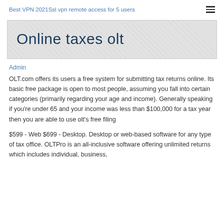Best VPN 2021Ssl vpn remote access for 5 users
Online taxes olt
Admin
OLT.com offers its users a free system for submitting tax returns online. Its basic free package is open to most people, assuming you fall into certain categories (primarily regarding your age and income). Generally speaking if you're under 65 and your income was less than $100,000 for a tax year then you are able to use olt's free filing
$599 - Web $699 - Desktop. Desktop or web-based software for any type of tax office. OLTPro is an all-inclusive software offering unlimited returns which includes individual, business,